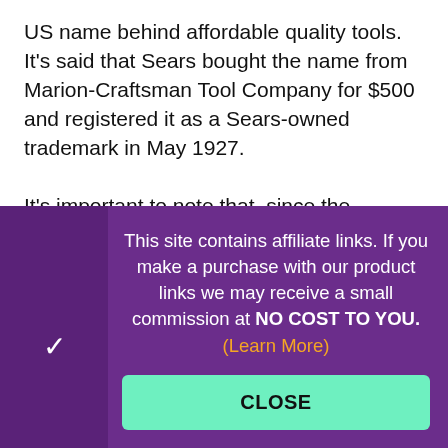US name behind affordable quality tools. It's said that Sears bought the name from Marion-Craftsman Tool Company for $500 and registered it as a Sears-owned trademark in May 1927.

It's important to note that, since the beginning, Craftsman tools were never manufactured by Sears. Over the years, several tool manufacturers have
This site contains affiliate links. If you make a purchase with our product links we may receive a small commission at NO COST TO YOU. (Learn More)
CLOSE